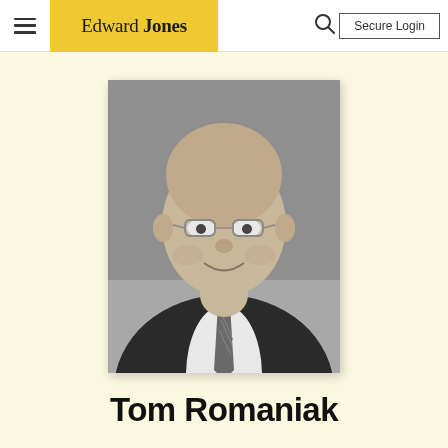Edward Jones — Secure Login
[Figure (photo): Black and white professional headshot of Tom Romaniak, a middle-aged man wearing glasses, a dark suit, white dress shirt, and a striped tie, smiling at the camera.]
Tom Romaniak